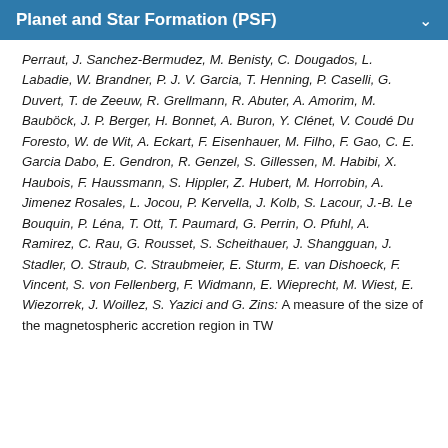Planet and Star Formation (PSF)
Perraut, J. Sanchez-Bermudez, M. Benisty, C. Dougados, L. Labadie, W. Brandner, P. J. V. Garcia, T. Henning, P. Caselli, G. Duvert, T. de Zeeuw, R. Grellmann, R. Abuter, A. Amorim, M. Bauböck, J. P. Berger, H. Bonnet, A. Buron, Y. Clénet, V. Coudé Du Foresto, W. de Wit, A. Eckart, F. Eisenhauer, M. Filho, F. Gao, C. E. Garcia Dabo, E. Gendron, R. Genzel, S. Gillessen, M. Habibi, X. Haubois, F. Haussmann, S. Hippler, Z. Hubert, M. Horrobin, A. Jimenez Rosales, L. Jocou, P. Kervella, J. Kolb, S. Lacour, J.-B. Le Bouquin, P. Léna, T. Ott, T. Paumard, G. Perrin, O. Pfuhl, A. Ramirez, C. Rau, G. Rousset, S. Scheithauer, J. Shangguan, J. Stadler, O. Straub, C. Straubmeier, E. Sturm, E. van Dishoeck, F. Vincent, S. von Fellenberg, F. Widmann, E. Wieprecht, M. Wiest, E. Wiezorrek, J. Woillez, S. Yazici and G. Zins: A measure of the size of the magnetospheric accretion region in TW